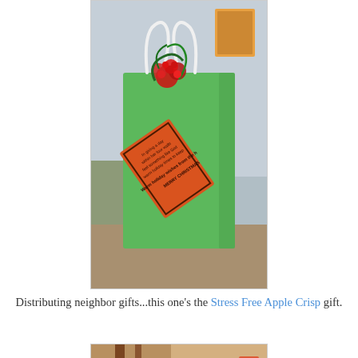[Figure (photo): A green gift bag with white rope handles, decorated with red and green holiday ribbons/bows at the top, and an orange diamond-shaped gift tag attached. The tag reads holiday wishes and MERRY CHRISTMAS. Background shows a home interior.]
Distributing neighbor gifts...this one's the Stress Free Apple Crisp gift.
[Figure (photo): Bottom portion of a second photo showing warm-toned interior scene with a text label reading MELK visible.]